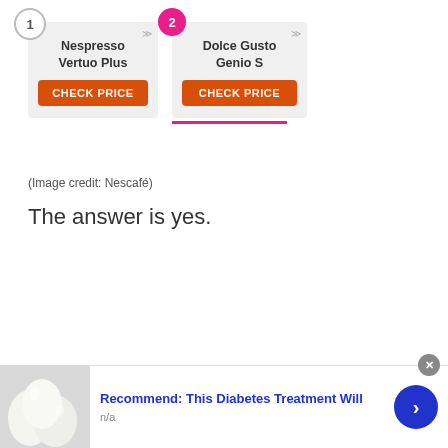[Figure (screenshot): Product comparison cards showing two coffee machine options: 1) Nespresso Vertuo Plus and 2) Dolce Gusto Genio S, each with a CHECK PRICE button. Card 2 has a pink underline and a pink numbered badge.]
(Image credit: Nescafé)
The answer is yes.
[Figure (infographic): Advertisement bar at the bottom showing an image of white eggs on the left, text 'Recommend: This Diabetes Treatment Will' in blue bold, 'n/a' in gray below, a close button (x), and a blue circular navigation arrow button on the right.]